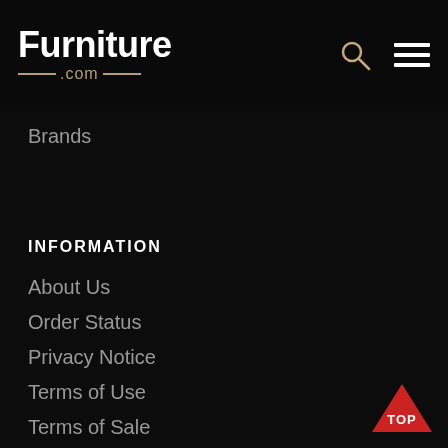[Figure (logo): Furniture.com logo in white with gold .com and decorative lines, plus search icon and hamburger menu icon in the header]
Brands
INFORMATION
About Us
Order Status
Privacy Notice
Terms of Use
Terms of Sale
California Privacy Policy
Contact Us
[Figure (other): Red triangle TOP button in bottom-right corner]